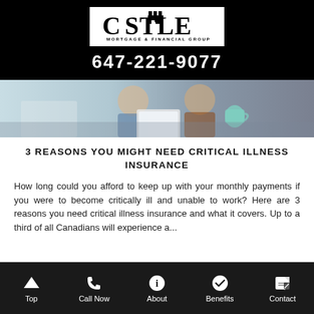[Figure (logo): Castle Mortgage & Financial Group logo with castle icon, white background on black header bar]
647-221-9077
[Figure (photo): Two people sitting together looking at a tablet, one holding a coffee mug]
3 REASONS YOU MIGHT NEED CRITICAL ILLNESS INSURANCE
How long could you afford to keep up with your monthly payments if you were to become critically ill and unable to work? Here are 3 reasons you need critical illness insurance and what it covers. Up to a third of all Canadians will experience a...
Top | Call Now | About | Benefits | Contact